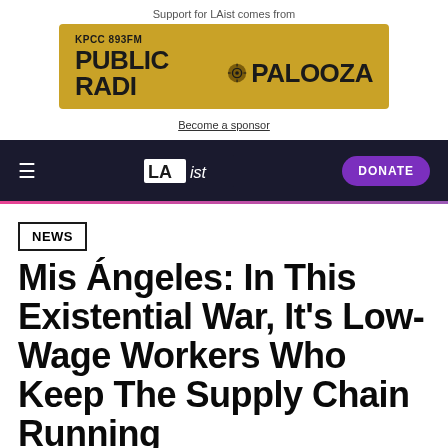Support for LAist comes from
[Figure (logo): KPCC 893FM Public Radio Palooza advertisement banner on a golden/yellow background]
Become a sponsor
LAist navigation bar with hamburger menu, LAist logo, and DONATE button
NEWS
Mis Ángeles: In This Existential War, It's Low-Wage Workers Who Keep The Supply Chain Running